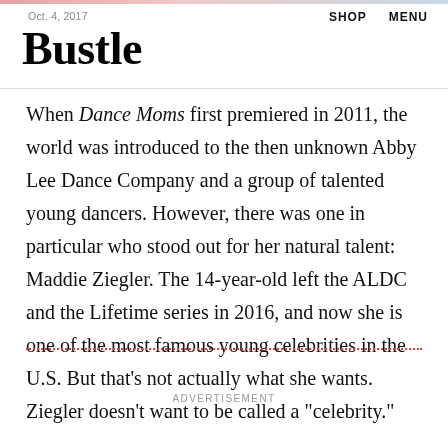Oct. 4, 2017
Bustle
SHOP   MENU
When Dance Moms first premiered in 2011, the world was introduced to the then unknown Abby Lee Dance Company and a group of talented young dancers. However, there was one in particular who stood out for her natural talent: Maddie Ziegler. The 14-year-old left the ALDC and the Lifetime series in 2016, and now she is one of the most famous young celebrities in the U.S. But that's not actually what she wants. Ziegler doesn't want to be called a "celebrity."
ADVERTISEMENT